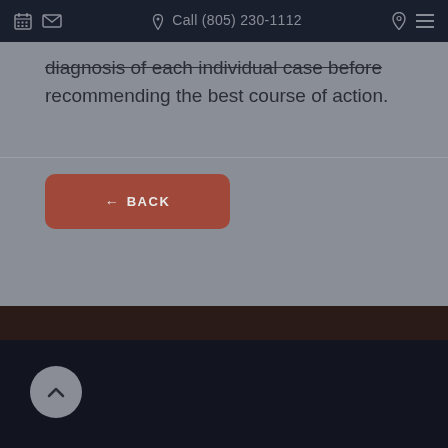Call (805) 230-1112
diagnosis of each individual case before recommending the best course of action.
[Figure (screenshot): A reddish-brown rounded rectangle button with a left arrow icon and the text BACK in white uppercase letters]
[Figure (screenshot): Dark footer area with a circular scroll-up button containing an upward-pointing chevron arrow]